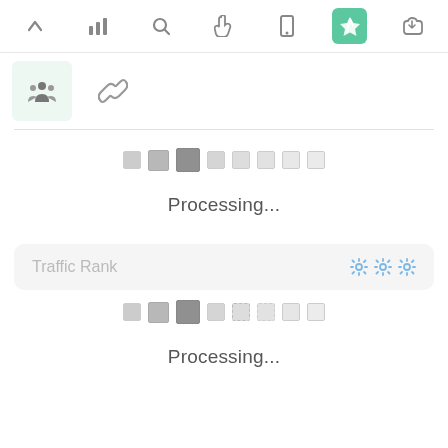[Figure (screenshot): Top navigation toolbar with icons: chevron up, bar chart, search/magnify, hand/pointer, mobile device, rocket/launch (highlighted green), thumbs up]
[Figure (screenshot): Second toolbar row with a group/people icon in a green tinted box and a chain/link icon]
[Figure (screenshot): Pagination squares row showing 8 squares, darker on left graduating to lighter on right]
Processing...
[Figure (screenshot): Traffic Rank card with title and three gear settings icons in blue]
[Figure (screenshot): Second pagination squares row showing 8 squares, darker on left graduating to lighter on right]
Processing...